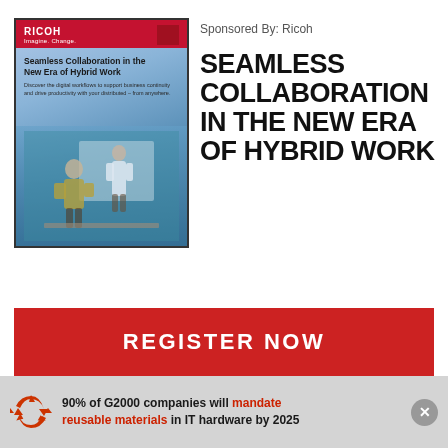[Figure (illustration): Book cover for 'Seamless Collaboration in the New Era of Hybrid Work' by Ricoh, showing a teal/blue gradient background with a photo of two people collaborating, Ricoh logo in red bar at top]
Sponsored By: Ricoh
SEAMLESS COLLABORATION IN THE NEW ERA OF HYBRID WORK
REGISTER NOW
90% of G2000 companies will mandate reusable materials in IT hardware by 2025